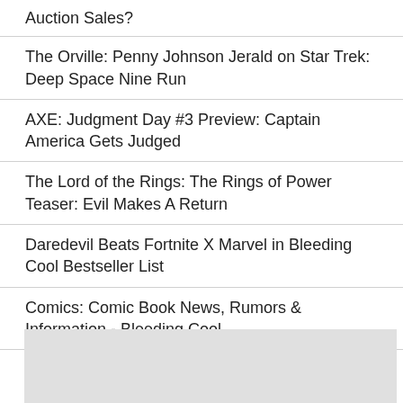Auction Sales?
The Orville: Penny Johnson Jerald on Star Trek: Deep Space Nine Run
AXE: Judgment Day #3 Preview: Captain America Gets Judged
The Lord of the Rings: The Rings of Power Teaser: Evil Makes A Return
Daredevil Beats Fortnite X Marvel in Bleeding Cool Bestseller List
Comics: Comic Book News, Rumors & Information - Bleeding Cool
The Sandman Episode 5: How "24/7" Changed From Comics To Screen
[Figure (other): Gray placeholder/advertisement box]